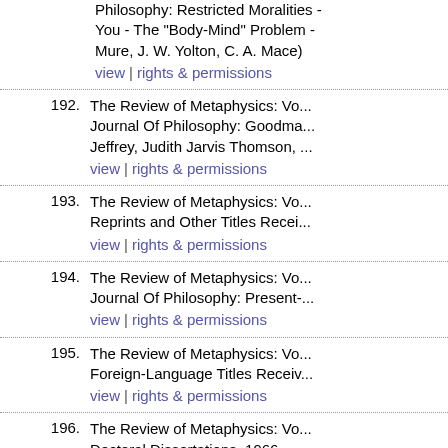Philosophy: Restricted Moralities - You - The "Body-Mind" Problem - Mure, J. W. Yolton, C. A. Mace) view | rights & permissions
192. The Review of Metaphysics: Vo... Journal Of Philosophy: Goodma... Jeffrey, Judith Jarvis Thomson, ... view | rights & permissions
193. The Review of Metaphysics: Vo... Reprints and Other Titles Recei... view | rights & permissions
194. The Review of Metaphysics: Vo... Journal Of Philosophy: Present-... view | rights & permissions
195. The Review of Metaphysics: Vo... Foreign-Language Titles Receiv... view | rights & permissions
196. The Review of Metaphysics: Vo... Doctoral Dissertations, 1966 view | rights & permissions
197. The Review of Metaphysics: Vo... Journal Of Philosophy: Some F...